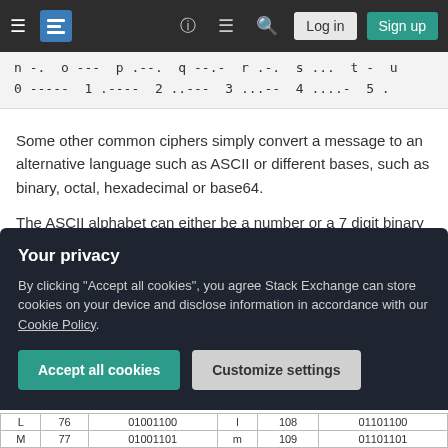Stack Exchange navigation bar with hamburger menu, logo, help, chat, search icons, Log in and Sign up buttons
n -. o --- p .--. q --.- r .-. s ... t - u
0 ----- 1 .---- 2 ..--- 3 ...-- 4 ....- 5 .
Some other common ciphers simply convert a message to an alternative language such as ASCII or different bases, such as binary, octal, hexadecimal or base64.
The ASCII alphabet can either be a number or a 7 digit binary code. This table sums it up:
| Symbol | Decimal | Binary | Symbol | Decimal | Binary |
| --- | --- | --- | --- | --- | --- |
| L | 76 | 01001100 | l | 108 | 01101100 |
| M | 77 | 01001101 | m | 109 | 01101101 |
Your privacy
By clicking "Accept all cookies", you agree Stack Exchange can store cookies on your device and disclose information in accordance with our Cookie Policy.